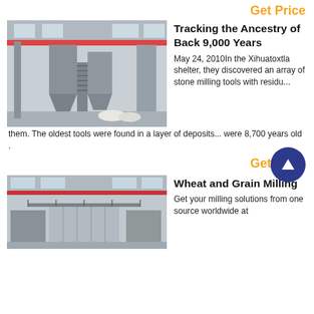Get Price
Tracking the Ancestry of Back 9,000 Years
[Figure (photo): Industrial grain milling facility interior with large metal silos and overhead crane]
May 24, 2010In the Xihuatoxtla shelter, they discovered an array of stone milling tools with residu...
them. The oldest tools were found in a layer of deposits... were 8,700 years old .
Get Price
Wheat and Grain Milling
[Figure (photo): Industrial grain milling facility interior with metal walkways and machinery]
Get your milling solutions from one source worldwide at